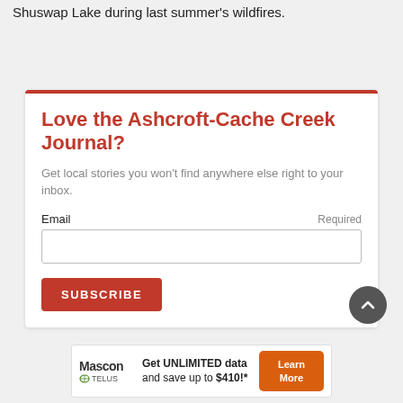Shuswap Lake during last summer's wildfires.
Love the Ashcroft-Cache Creek Journal?
Get local stories you won't find anywhere else right to your inbox.
Email
Required
[Figure (screenshot): Email input field (text box) for newsletter subscription]
[Figure (screenshot): SUBSCRIBE button in red/orange]
[Figure (screenshot): Scroll to top circular button (dark grey with up arrow)]
[Figure (infographic): Mascon by TELUS advertisement banner: Get UNLIMITED data and save up to $410!* with Learn More button]